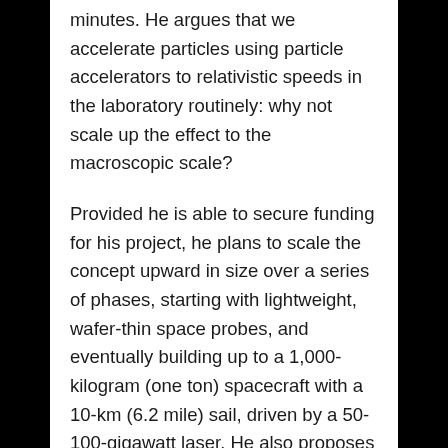minutes. He argues that we accelerate particles using particle accelerators to relativistic speeds in the laboratory routinely: why not scale up the effect to the macroscopic scale?
Provided he is able to secure funding for his project, he plans to scale the concept upward in size over a series of phases, starting with lightweight, wafer-thin space probes, and eventually building up to a 1,000-kilogram (one ton) spacecraft with a 10-km (6.2 mile) sail, driven by a 50-100-gigawatt laser. He also proposes that the system's power could be multiplied by having the light that the spacecraft's sail reflects back to the laser re-